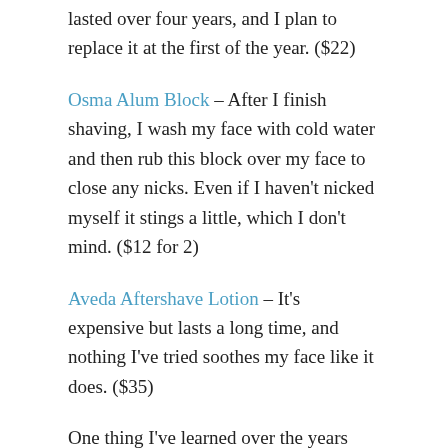lasted over four years, and I plan to replace it at the first of the year. ($22)
Osma Alum Block – After I finish shaving, I wash my face with cold water and then rub this block over my face to close any nicks. Even if I haven't nicked myself it stings a little, which I don't mind. ($12 for 2)
Aveda Aftershave Lotion – It's expensive but lasts a long time, and nothing I've tried soothes my face like it does. ($35)
One thing I've learned over the years that is that using a cheap shaving foam or gel isn't worth the hassle and abuse to my face. Whenever I use a foam or gel my face pays the price so I will skip a day shaving before I use one again.